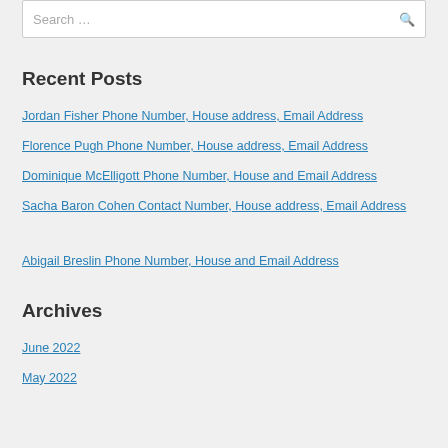Search …
Recent Posts
Jordan Fisher Phone Number, House address, Email Address
Florence Pugh Phone Number, House address, Email Address
Dominique McElligott Phone Number, House and Email Address
Sacha Baron Cohen Contact Number, House address, Email Address
Abigail Breslin Phone Number, House and Email Address
Archives
June 2022
May 2022